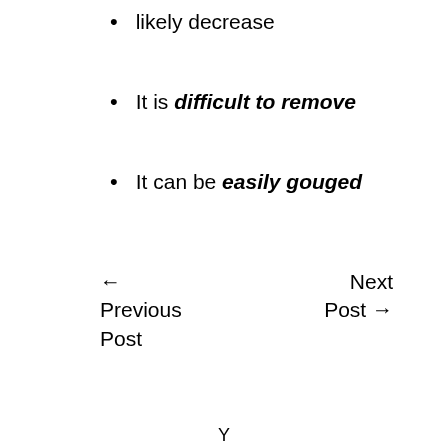likely decrease
It is difficult to remove
It can be easily gouged
← Previous Post
Next Post →
Y